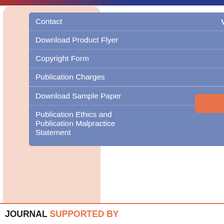[Figure (screenshot): A website navigation dropdown menu screenshot showing a blue/steel-blue dropdown panel overlaid on peach/salmon rounded-corner background cards. The dropdown contains menu items: Contact, View More, Download Product Flyer, Copyright Form, Publication Charges, Download Sample Paper, Publication Ethics and Publication Malpractice Statement. An orange button partially visible reads 'UPDATES'. Below, orange buttons read 'THE CONFERENCE WORLD' and 'JOIN WO...' (partially cut off). A second dropdown shows: Join Editorial Board, Become a Reviewer, Recommend to Library. A faint 'Conference' text appears at bottom of a peach card.]
JOURNAL SUPPORTED BY